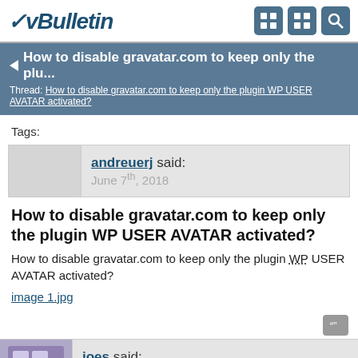vBulletin
How to disable gravatar.com to keep only the plu...
Thread: How to disable gravatar.com to keep only the plugin WP USER AVATAR activated?
Tags:
andreuerj said:
June 7th, 2018
How to disable gravatar.com to keep only the plugin WP USER AVATAR activated?
How to disable gravatar.com to keep only the plugin WP USER AVATAR activated?
image 1.jpg
joes said:
June 8th, 2018